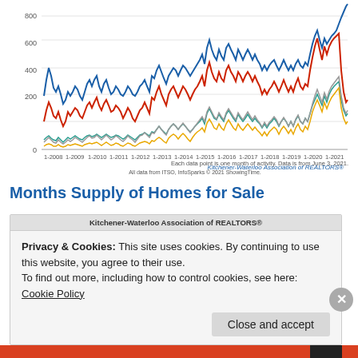[Figure (line-chart): Multi-line time series chart showing home sales activity in Kitchener-Waterloo from 1-2008 to 1-2021. Blue line (highest) peaks around 800+, red line peaks around 500-600, teal and gray lines are lower, gold/orange line is lowest near 0-50.]
Kitchener-Waterloo Association of REALTORS®
Each data point is one month of activity. Data is from June 3, 2021.
All data from ITSO, InfoSparks © 2021 ShowingTime.
Months Supply of Homes for Sale
Kitchener-Waterloo Association of REALTORS®
Privacy & Cookies: This site uses cookies. By continuing to use this website, you agree to their use.
To find out more, including how to control cookies, see here: Cookie Policy
Close and accept